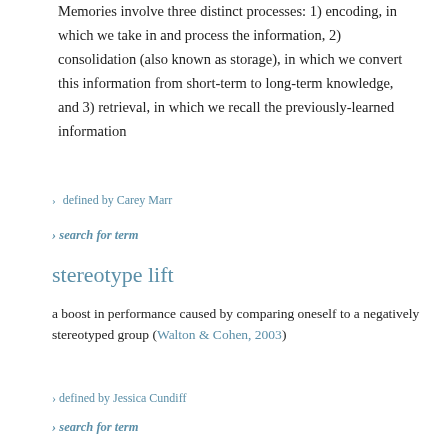Memories involve three distinct processes: 1) encoding, in which we take in and process the information, 2) consolidation (also known as storage), in which we convert this information from short-term to long-term knowledge, and 3) retrieval, in which we recall the previously-learned information
› defined by Carey Marr
› search for term
stereotype lift
a boost in performance caused by comparing oneself to a negatively stereotyped group (Walton & Cohen, 2003)
› defined by Jessica Cundiff
› search for term